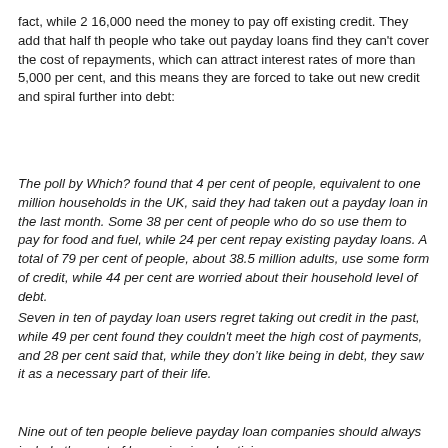fact, while 2 16,000 need the money to pay off existing credit. They add that half th people who take out payday loans find they can't cover the cost of repayments, which can attract interest rates of more than 5,000 per cent, and this means they are forced to take out new credit and spiral further into debt:
The poll by Which? found that 4 per cent of people, equivalent to one million households in the UK, said they had taken out a payday loan in the last month. Some 38 per cent of people who do so use them to pay for food and fuel, while 24 per cent repay existing payday loans. A total of 79 per cent of people, about 38.5 million adults, use some form of credit, while 44 per cent are worried about their household level of debt.
Seven in ten of payday loan users regret taking out credit in the past, while 49 per cent found they couldn't meet the high cost of payments, and 28 per cent said that, while they don’t like being in debt, they saw it as a necessary part of their life.
Nine out of ten people believe payday loan companies should always include the cost of borrowing in advertising,